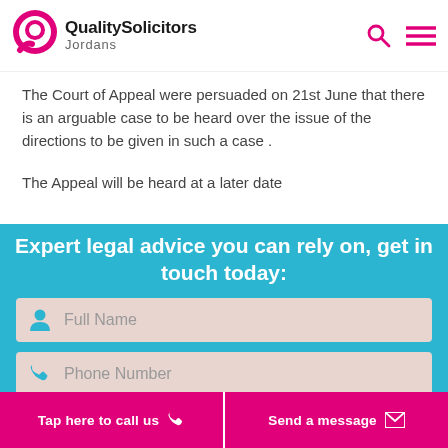QualitySolicitors Jordans
The Court of Appeal were persuaded on 21st June that there is an arguable case to be heard over the issue of the directions to be given in such a case .
The Appeal will be heard at a later date
Expert legal advice you can rely on, get in touch today:
Full Name
Phone Number
Tap here to call us
Send a message